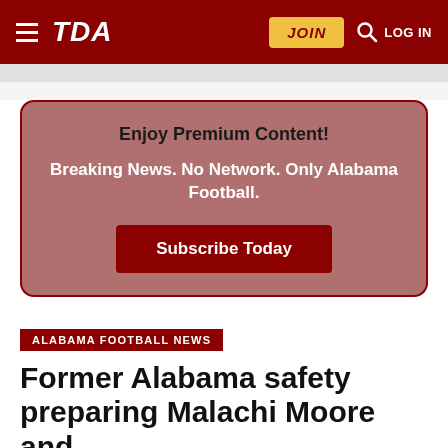TDA | JOIN | LOG IN
Enjoy Premium Content!
Breaking News. No Network. Only Alabama Football.
Subscribe Today
ALABAMA FOOTBALL NEWS
Former Alabama safety preparing Malachi Moore and Brian Branch for sophomore season